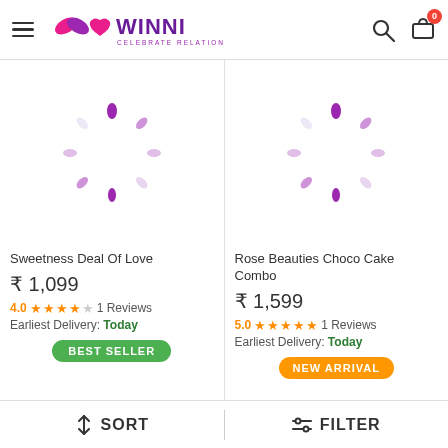[Figure (logo): Winni logo with hamburger menu, search and cart icons in the header]
[Figure (illustration): Loading spinner (purple dots) for Sweetness Deal Of Love product image]
Sweetness Deal Of Love
₹ 1,099
4.0 ★★★★☆ 1 Reviews
Earliest Delivery: Today
BEST SELLER
[Figure (illustration): Loading spinner (purple dots) for Rose Beauties Choco Cake Combo product image]
Rose Beauties Choco Cake Combo
₹ 1,599
5.0 ★★★★★ 1 Reviews
Earliest Delivery: Today
NEW ARRIVAL
SORT   FILTER